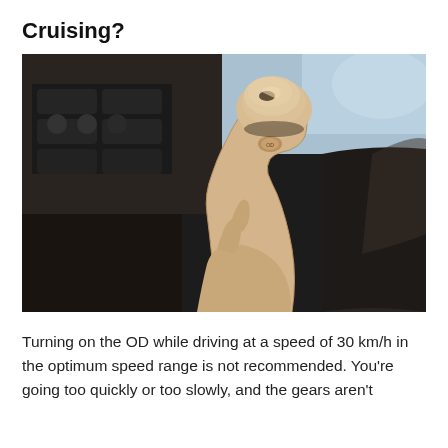Cruising?
[Figure (photo): Close-up photo of a beige/tan automatic gear shift lever (overdrive button visible) in a car interior, with dashboard controls visible in the background and passenger seat visible on the right.]
Turning on the OD while driving at a speed of 30 km/h in the optimum speed range is not recommended. You're going too quickly or too slowly, and the gears aren't